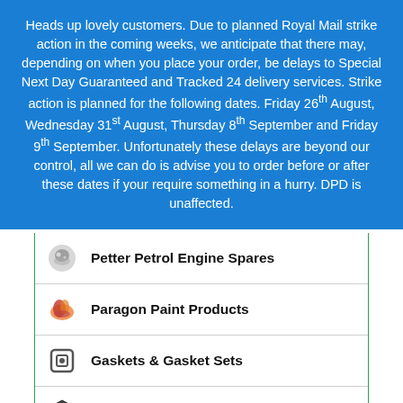Heads up lovely customers. Due to planned Royal Mail strike action in the coming weeks, we anticipate that there may, depending on when you place your order, be delays to Special Next Day Guaranteed and Tracked 24 delivery services. Strike action is planned for the following dates. Friday 26th August, Wednesday 31st August, Thursday 8th September and Friday 9th September. Unfortunately these delays are beyond our control, all we can do is advise you to order before or after these dates if your require something in a hurry. DPD is unaffected.
Petter Petrol Engine Spares
Paragon Paint Products
Gaskets & Gasket Sets
Magneto Spares
Fuel Injection
Water Pumps & Spares